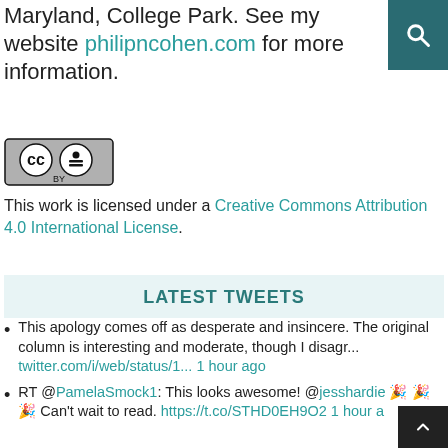I'm a sociologist at the University of Maryland, College Park. See my website philipncohen.com for more information.
[Figure (logo): Creative Commons BY license badge]
This work is licensed under a Creative Commons Attribution 4.0 International License.
LATEST TWEETS
This apology comes off as desperate and insincere. The original column is interesting and moderate, though I disagr... twitter.com/i/web/status/1... 1 hour ago
RT @PamelaSmock1: This looks awesome! @jesshardie 🎉 🎉 🎉 Can't wait to read. https://t.co/STHD0EH9O2 1 hour a